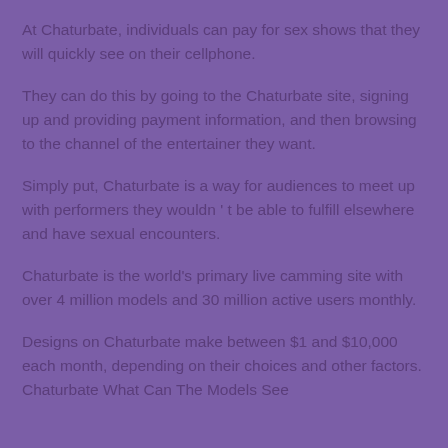At Chaturbate, individuals can pay for sex shows that they will quickly see on their cellphone.
They can do this by going to the Chaturbate site, signing up and providing payment information, and then browsing to the channel of the entertainer they want.
Simply put, Chaturbate is a way for audiences to meet up with performers they wouldn't be able to fulfill elsewhere and have sexual encounters.
Chaturbate is the world's primary live camming site with over 4 million models and 30 million active users monthly.
Designs on Chaturbate make between $1 and $10,000 each month, depending on their choices and other factors. Chaturbate What Can The Models See